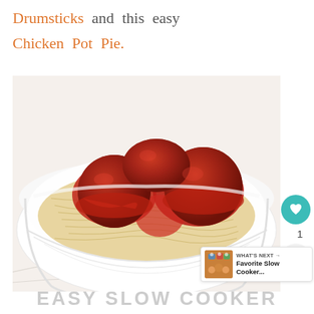Drumsticks and this easy Chicken Pot Pie.
[Figure (photo): A white bowl filled with spaghetti pasta topped with large meatballs covered in red tomato sauce, photographed on a marble surface from above.]
1
WHAT'S NEXT → Favorite Slow Cooker...
EASY SLOW COOKER